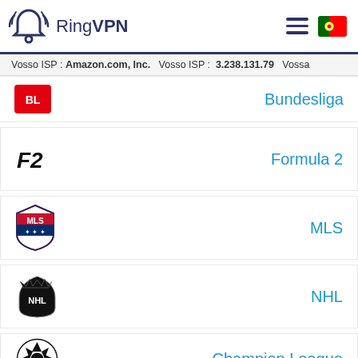RingVPN
Vosso ISP : Amazon.com, Inc.   Vosso ISP : 3.238.131.79   Vossa
Bundesliga
Formula 2
MLS
NHL
Champion League